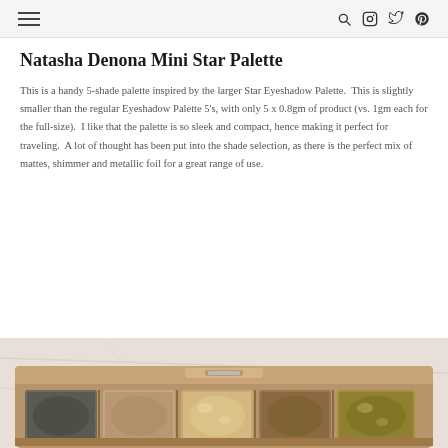[hamburger menu] [search] [instagram] [twitter] [pinterest]
Natasha Denona Mini Star Palette
This is a handy 5-shade palette inspired by the larger Star Eyeshadow Palette.  This is slightly smaller than the regular Eyeshadow Palette 5's, with only 5 x 0.8gm of product (vs. 1gm each for the full-size).  I like that the palette is so sleek and compact, hence making it perfect for traveling.  A lot of thought has been put into the shade selection, as there is the perfect mix of mattes, shimmer and metallic foil for a great range of use.
[Figure (photo): Photo of Natasha Denona Mini Star Palette showing 5 eyeshadow pans in a gold/tan compact case with a clasp, placed on a marble surface]